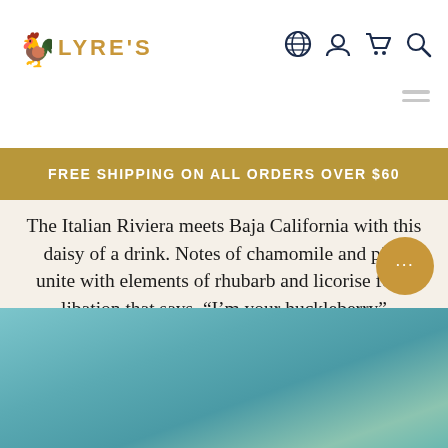LYRE'S — navigation header with logo, globe, account, cart, search icons
FREE SHIPPING ON ALL ORDERS OVER $60
The Italian Riviera meets Baja California with this daisy of a drink. Notes of chamomile and pine unite with elements of rhubarb and licorise for a libation that says, “I’m your huckleberry”
Go To Recipe
[Figure (photo): Colorful teal/turquoise background image at the bottom of the page, partial view]